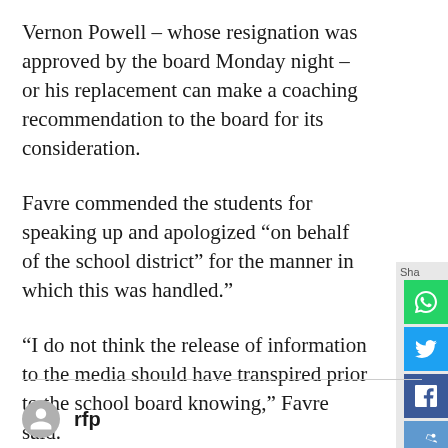Vernon Powell – whose resignation was approved by the board Monday night – or his replacement can make a coaching recommendation to the board for its consideration.
Favre commended the students for speaking up and apologized "on behalf of the school district" for the manner in which this was handled."
"I do not think the release of information to the media should have transpired prior to the school board knowing," Favre said.
[Figure (other): Social share sidebar with buttons for WhatsApp (green), Twitter (blue), Facebook (dark blue), Reddit (light blue), LinkedIn (blue), and email (gray). Labeled 'Sha' at top.]
[Figure (other): Generic user avatar icon (gray circle with person silhouette)]
rfp